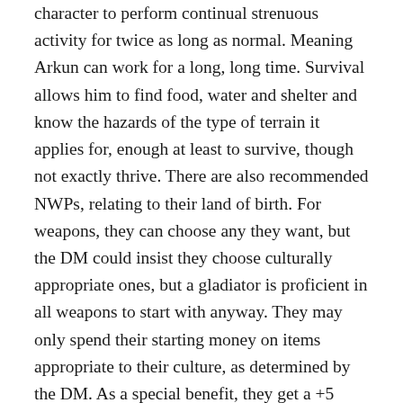character to perform continual strenuous activity for twice as long as normal. Meaning Arkun can work for a long, long time. Survival allows him to find food, water and shelter and know the hazards of the type of terrain it applies for, enough at least to survive, though not exactly thrive. There are also recommended NWPs, relating to their land of birth. For weapons, they can choose any they want, but the DM could insist they choose culturally appropriate ones, but a gladiator is proficient in all weapons to start with anyway. They may only spend their starting money on items appropriate to their culture, as determined by the DM. As a special benefit, they get a +5 bonus to survival checks, but only in their home terrain. If they pick up other survival terrains later, it doesn't apply to them. The only special hindrance they have is a roleplaying one, in that in their early years they are occasionally hindered by a lack of